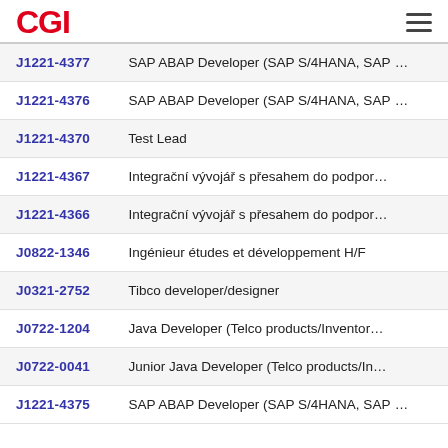CGI
J1221-4377  SAP ABAP Developer (SAP S/4HANA, SAP …
J1221-4376  SAP ABAP Developer (SAP S/4HANA, SAP …
J1221-4370  Test Lead
J1221-4367  Integrační vývojář s přesahem do podpor…
J1221-4366  Integrační vývojář s přesahem do podpor…
J0822-1346  Ingénieur études et développement H/F
J0321-2752  Tibco developer/designer
J0722-1204  Java Developer (Telco products/Inventor…
J0722-0041  Junior Java Developer (Telco products/In…
J1221-4375  SAP ABAP Developer (SAP S/4HANA, SAP …